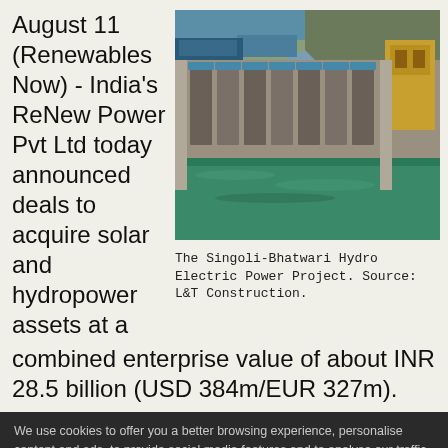August 11 (Renewables Now) - India's ReNew Power Pvt Ltd today announced deals to acquire solar and hydropower assets at a combined enterprise value of about INR 28.5 billion (USD 384m/EUR 327m).
[Figure (photo): Aerial view of the Singoli-Bhatwari Hydro Electric Power Project showing dam gates, turbine structure, and green river water, with rocky mountain terrain in the background.]
The Singoli-Bhatwari Hydro Electric Power Project. Source: L&T Construction.
We use cookies to offer you a better browsing experience, personalise content and ads, to provide social media features and to analyse our traffic. Read about how we use cookies and how you can control them by clicking Cookie Settings. You consent to our cookies if you continue to use this website.